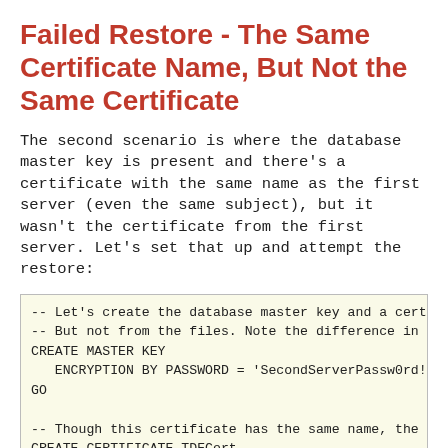Failed Restore - The Same Certificate Name, But Not the Same Certificate
The second scenario is where the database master key is present and there's a certificate with the same name as the first server (even the same subject), but it wasn't the certificate from the first server. Let's set that up and attempt the restore:
-- Let's create the database master key and a certificate
-- But not from the files. Note the difference in password
CREATE MASTER KEY
   ENCRYPTION BY PASSWORD = 'SecondServerPassw0rd!';
GO

-- Though this certificate has the same name, the restore
CREATE CERTIFICATE TDECert
   WITH SUBJECT = 'TDE Cert for Test';
GO

-- Since we don't have the corrected certificate, this wi